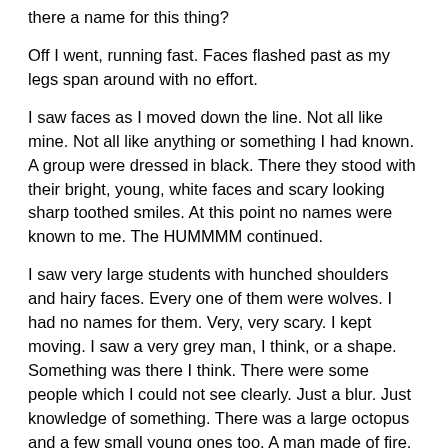there a name for this thing?
Off I went, running fast. Faces flashed past as my legs span around with no effort.
I saw faces as I moved down the line. Not all like mine. Not all like anything or something I had known. A group were dressed in black. There they stood with their bright, young, white faces and scary looking sharp toothed smiles. At this point no names were known to me. The HUMMMM continued.
I saw very large students with hunched shoulders and hairy faces. Every one of them were wolves. I had no names for them. Very, very scary. I kept moving. I saw a very grey man, I think, or a shape. Something was there I think. There were some people which I could not see clearly. Just a blur. Just knowledge of something. There was a large octopus and a few small young ones too. A man made of fire. He said, hi young lad, as I shot past his blazing heat. There were others, more about that later. I got the end of the line and my mind was spinning. The HUMMMM stopped.